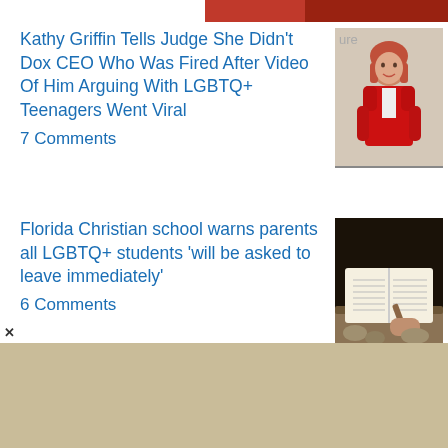[Figure (photo): Partial red image at top right corner]
Kathy Griffin Tells Judge She Didn't Dox CEO Who Was Fired After Video Of Him Arguing With LGBTQ+ Teenagers Went Viral
7 Comments
[Figure (photo): Woman with short red/auburn hair wearing a red jacket]
Florida Christian school warns parents all LGBTQ+ students 'will be asked to leave immediately'
6 Comments
[Figure (photo): Hands writing in an open book, possibly a Bible]
Catching UP With Randy Rainbow Making the Case for the January 6 Committee and the Justice Department: And More Recent Dispatches
[Figure (other): Tan/beige advertisement banner at bottom]